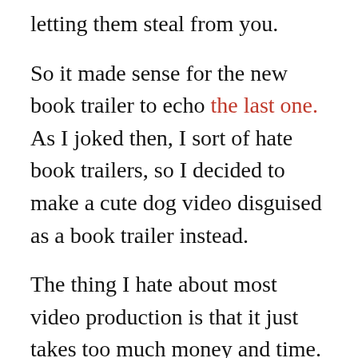letting them steal from you.
So it made sense for the new book trailer to echo the last one. As I joked then, I sort of hate book trailers, so I decided to make a cute dog video disguised as a book trailer instead.
The thing I hate about most video production is that it just takes too much money and time. I made this trailer in two afternoons, using equipment I already owned, with software that came standard on my iMac — I shot the footage with my Panasonic Lumix, made the animations in Keynote, recorded the music and voiceover in Garageband with my Blue Yeti USB mic, and hacked it together